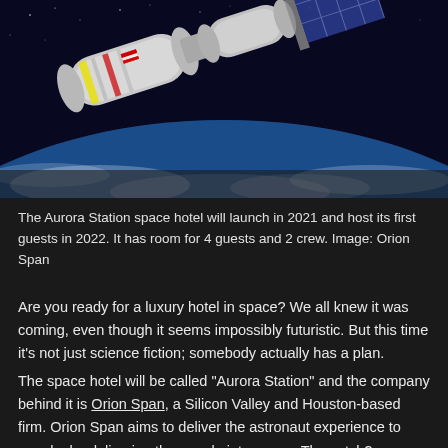[Figure (photo): Photo of the Aurora Station space hotel concept in orbit, showing a cylindrical module with solar panels against a view of Earth and space below.]
The Aurora Station space hotel will launch in 2021 and host its first guests in 2022. It has room for 4 guests and 2 crew. Image: Orion Span
Are you ready for a luxury hotel in space? We all knew it was coming, even though it seems impossibly futuristic. But this time it's not just science fiction; somebody actually has a plan.
The space hotel will be called "Aurora Station" and the company behind it is Orion Span, a Silicon Valley and Houston-based firm. Orion Span aims to deliver the astronaut experience to people, by delivering the people into space. The catch?